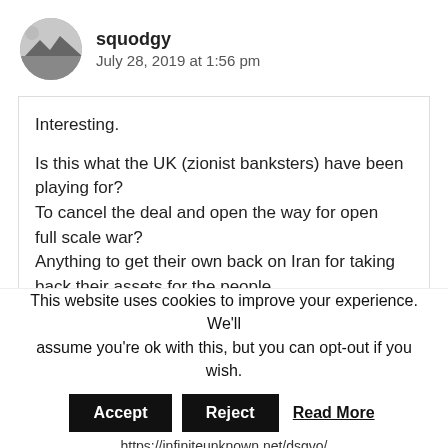squodgy
July 28, 2019 at 1:56 pm
Interesting.

Is this what the UK (zionist banksters) have been playing for?
To cancel the deal and open the way for open full scale war?
Anything to get their own back on Iran for taking back their assets for the people.

http://en.farsnews.com/newstext.aspx?...
This website uses cookies to improve your experience. We'll assume you're ok with this, but you can opt-out if you wish.
Accept  Reject  Read More
https://infiniteunknown.net/dsgvo/